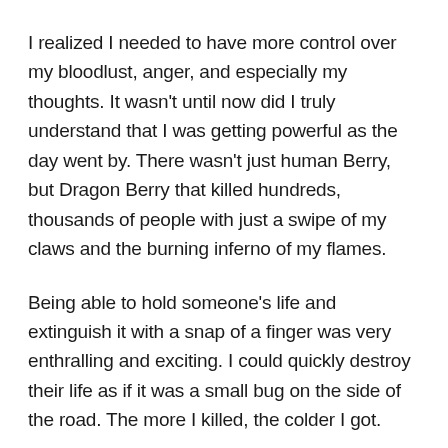I realized I needed to have more control over my bloodlust, anger, and especially my thoughts. It wasn't until now did I truly understand that I was getting powerful as the day went by. There wasn't just human Berry, but Dragon Berry that killed hundreds, thousands of people with just a swipe of my claws and the burning inferno of my flames.
Being able to hold someone's life and extinguish it with a snap of a finger was very enthralling and exciting. I could quickly destroy their life as if it was a small bug on the side of the road. The more I killed, the colder I got.